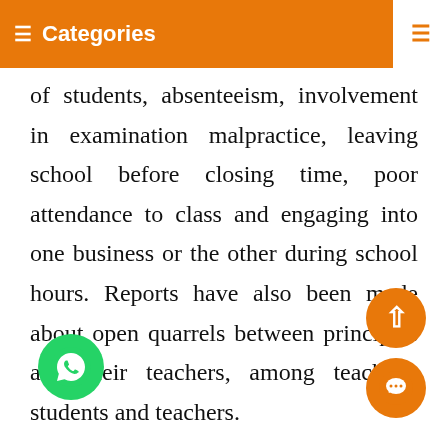≡ Categories ∨  ≡
of students, absenteeism, involvement in examination malpractice, leaving school before closing time, poor attendance to class and engaging into one business or the other during school hours. Reports have also been made about open quarrels between principals and their teachers, among teachers, students and teachers.
this past few years in Imo State, report of serious quarrel arose between